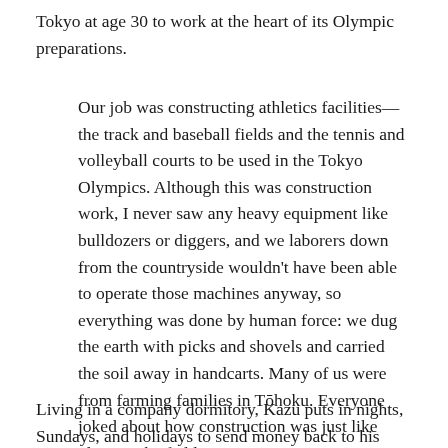Tokyo at age 30 to work at the heart of its Olympic preparations.
Our job was constructing athletics facilities—the track and baseball fields and the tennis and volleyball courts to be used in the Tokyo Olympics. Although this was construction work, I never saw any heavy equipment like bulldozers or diggers, and we laborers down from the countryside wouldn't have been able to operate those machines anyway, so everything was done by human force: we dug the earth with picks and shovels and carried the soil away in handcarts. Many of us were from farming families in Tōhoku. Everyone joked about how construction was just like plowing the fields.
Living in a company dormitory, Kazu puts in nights, Sundays, and holidays to send money back to his